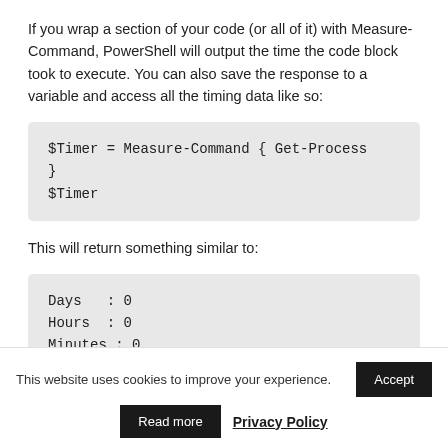If you wrap a section of your code (or all of it) with Measure-Command, PowerShell will output the time the code block took to execute. You can also save the response to a variable and access all the timing data like so:
This will return something similar to:
This website uses cookies to improve your experience. Accept | Read more | Privacy Policy